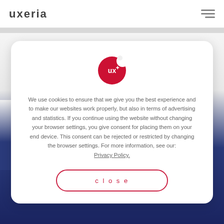uxeria
[Figure (screenshot): Uxeria website cookie consent modal dialog with logo icon, consent text, and close button]
We use cookies to ensure that we give you the best experience and to make our websites work properly, but also in terms of advertising and statistics. If you continue using the website without changing your browser settings, you give consent for placing them on your end device. This consent can be rejected or restricted by changing the browser settings. For more information, see our: Privacy Policy.
close